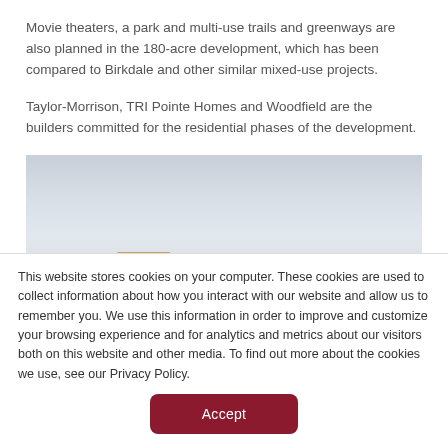Movie theaters, a park and multi-use trails and greenways are also planned in the 180-acre development, which has been compared to Birkdale and other similar mixed-use projects.
Taylor-Morrison, TRI Pointe Homes and Woodfield are the builders committed for the residential phases of the development.
[Figure (photo): Landscape photo showing a wide sky with light clouds and a small brown structure or vehicle visible at the bottom left.]
This website stores cookies on your computer. These cookies are used to collect information about how you interact with our website and allow us to remember you. We use this information in order to improve and customize your browsing experience and for analytics and metrics about our visitors both on this website and other media. To find out more about the cookies we use, see our Privacy Policy.
Accept